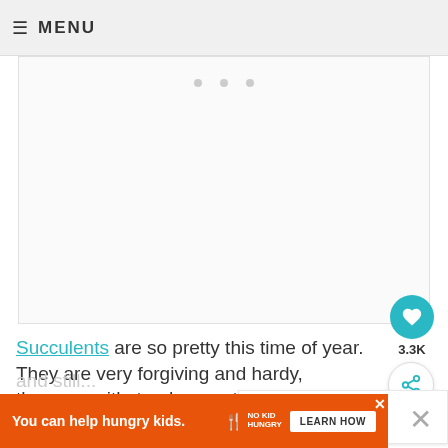≡ MENU
[Figure (photo): Image placeholder with three dots indicating a slideshow or loading image area]
Succulents are so pretty this time of year. They are very forgiving and hardy, they can withstand a great deal of neglect and still...
[Figure (infographic): What's Next banner showing Easy Pumpkin Pi... with a circular food thumbnail]
[Figure (infographic): Orange advertisement banner: You can help hungry kids. NO KID HUNGRY. LEARN HOW]